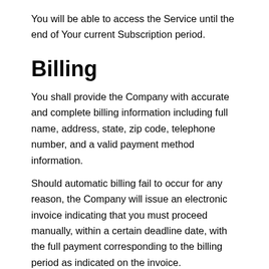You will be able to access the Service until the end of Your current Subscription period.
Billing
You shall provide the Company with accurate and complete billing information including full name, address, state, zip code, telephone number, and a valid payment method information.
Should automatic billing fail to occur for any reason, the Company will issue an electronic invoice indicating that you must proceed manually, within a certain deadline date, with the full payment corresponding to the billing period as indicated on the invoice.